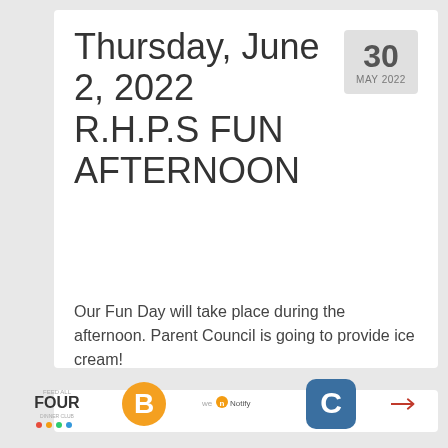Thursday, June 2, 2022 R.H.P.S FUN AFTERNOON
Our Fun Day will take place during the afternoon. Parent Council is going to provide ice cream!
[Figure (logo): Feed All Four logo]
[Figure (logo): Orange B logo]
[Figure (logo): We Notify logo]
[Figure (logo): Blue C logo]
[Figure (logo): Red arrow logo]